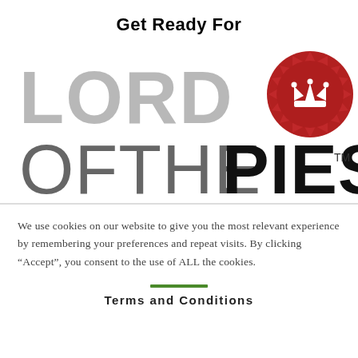Get Ready For
[Figure (logo): Lord of the Pies logo: large grey 'LORD' text above dark 'OFTHePIES' text with trademark symbol, and a red wax seal with crown icon in upper right]
We use cookies on our website to give you the most relevant experience by remembering your preferences and repeat visits. By clicking “Accept”, you consent to the use of ALL the cookies.
Terms and Conditions